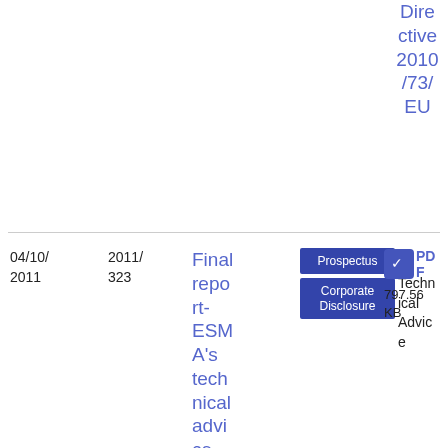Directive 2010/73/EU
| Date | Ref | Title | Tags | Type | Download |
| --- | --- | --- | --- | --- | --- |
| 04/10/2011 | 2011/323 | Final report- ESMA's technical advice on possible delegated acts | Prospectus | Corporate Disclosure | Technical Advice | PDF 797.56 KB |